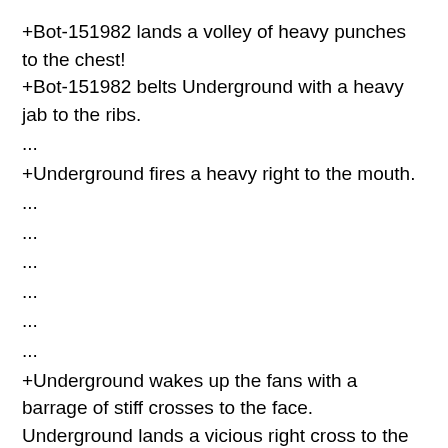+Bot-151982 lands a volley of heavy punches to the chest! +Bot-151982 belts Underground with a heavy jab to the ribs.
...
+Underground fires a heavy right to the mouth.
...
...
...
...
...
...
+Underground wakes up the fans with a barrage of stiff crosses to the face.
Underground lands a vicious right cross to the jaw and Bot-151982 bounces off the ropes and onto his face! -- he's down!!
ONE